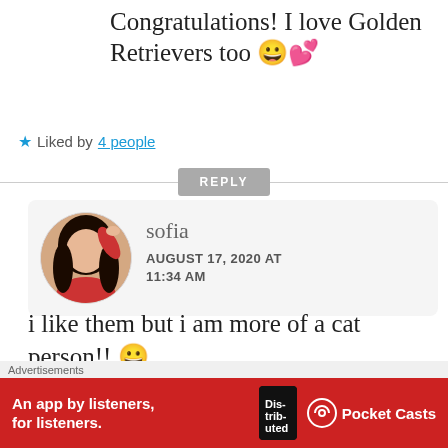Congratulations! I love Golden Retrievers too 😀💕
★ Liked by 4 people
REPLY
[Figure (photo): Round avatar photo of sofia, a woman with long dark hair wearing a red top]
sofia
AUGUST 17, 2020 AT 11:34 AM
i like them but i am more of a cat person!! 😀
Advertisements
An app by listeners, for listeners.
Pocket Casts